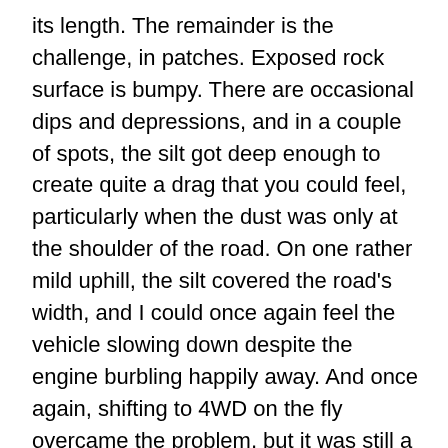its length. The remainder is the challenge, in patches. Exposed rock surface is bumpy. There are occasional dips and depressions, and in a couple of spots, the silt got deep enough to create quite a drag that you could feel, particularly when the dust was only at the shoulder of the road. On one rather mild uphill, the silt covered the road's width, and I could once again feel the vehicle slowing down despite the engine burbling happily away. And once again, shifting to 4WD on the fly overcame the problem, but it was still a somewhat laborious, tire-churning affair. I felt like Spock, thinking, “Fascinating”. It called for more momentum and less weight, similar to what succeeds in deep sand. Fortunately for any touristy plans you may have, I’m clocking in at well over 10,000 pounds wet, so given any lighter 2WD vehicle, you'll make it fine. And your backup plan to overcome these short difficulties will be a